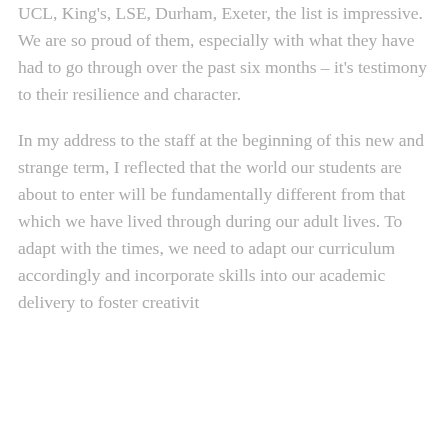UCL, King's, LSE, Durham, Exeter, the list is impressive. We are so proud of them, especially with what they have had to go through over the past six months – it's testimony to their resilience and character.
In my address to the staff at the beginning of this new and strange term, I reflected that the world our students are about to enter will be fundamentally different from that which we have lived through during our adult lives. To adapt with the times, we need to adapt our curriculum accordingly and incorporate skills into our academic delivery to foster creativity...